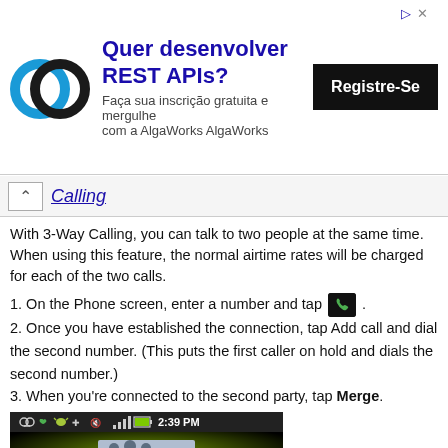[Figure (screenshot): Advertisement banner for AlgaWorks REST APIs course with logo, Portuguese text 'Quer desenvolver REST APIs? Faça sua inscrição gratuita e mergulhe com a AlgaWorks AlgaWorks' and a 'Registre-Se' button]
Calling
With 3-Way Calling, you can talk to two people at the same time. When using this feature, the normal airtime rates will be charged for each of the two calls.
1. On the Phone screen, enter a number and tap [phone icon] .
2. Once you have established the connection, tap Add call and dial the second number. (This puts the first caller on hold and dials the second number.)
3. When you're connected to the second party, tap Merge.
[Figure (screenshot): Android phone screen showing a contact group icon (silhouettes of three people) with status bar showing time 2:39 PM, call icon, signal bars, and battery icon. Green-black gradient background.]